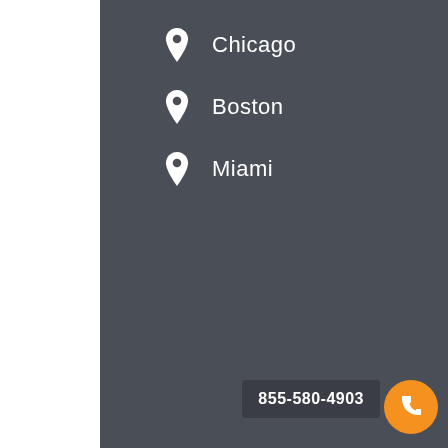Chicago
Boston
Miami
855-580-4903